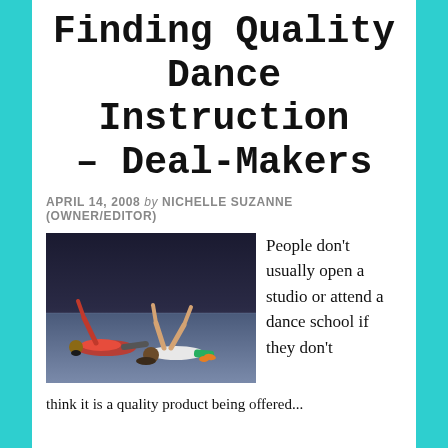Finding Quality Dance Instruction – Deal-Makers
APRIL 14, 2008 by NICHELLE SUZANNE (OWNER/EDITOR)
[Figure (photo): Two children lying on their backs on a dance studio floor with arms raised upward, appearing to be doing a dance exercise.]
People don't usually open a studio or attend a dance school if they don't think it is a quality product being offered...